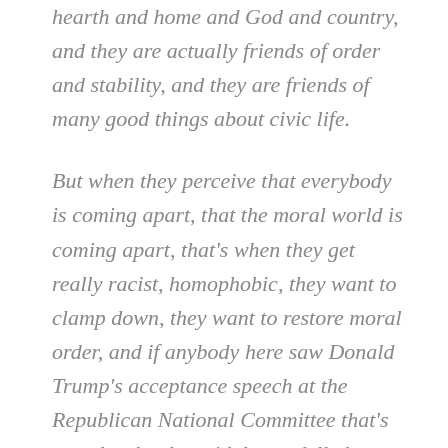hearth and home and God and country, and they are actually friends of order and stability, and they are friends of many good things about civic life.
But when they perceive that everybody is coming apart, that the moral world is coming apart, that's when they get really racist, homophobic, they want to clamp down, they want to restore moral order, and if anybody here saw Donald Trump's acceptance speech at the Republican National Committee that's exactly what he said, he modelled himself after Richard Nixon's 1968 speech, a time when cities are...